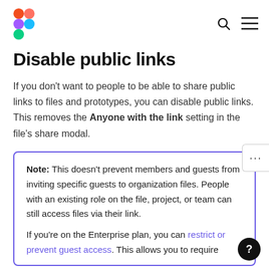Figma logo, search icon, menu icon
Disable public links
If you don't want to people to be able to share public links to files and prototypes, you can disable public links. This removes the Anyone with the link setting in the file's share modal.
Note: This doesn't prevent members and guests from inviting specific guests to organization files. People with an existing role on the file, project, or team can still access files via their link.

If you're on the Enterprise plan, you can restrict or prevent guest access. This allows you to require